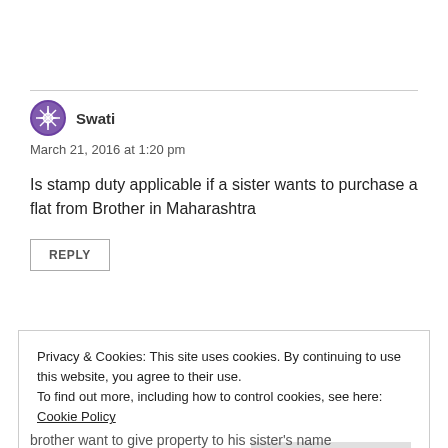[Figure (logo): Purple decorative avatar icon for user Swati]
Swati
March 21, 2016 at 1:20 pm
Is stamp duty applicable if a sister wants to purchase a flat from Brother in Maharashtra
REPLY
Privacy & Cookies: This site uses cookies. By continuing to use this website, you agree to their use.
To find out more, including how to control cookies, see here: Cookie Policy
Close and accept
brother want to give property to his sister's name